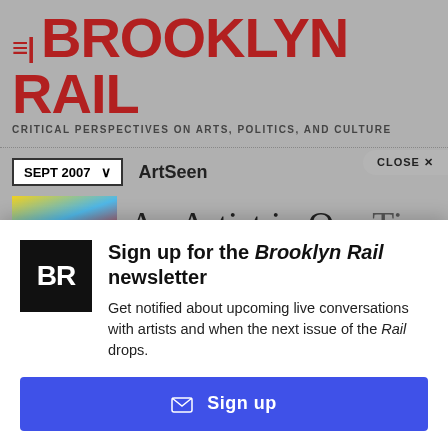[Figure (screenshot): Brooklyn Rail website screenshot showing logo, tagline, navigation with date dropdown and ArtSeen section, and partial article title 'An Artist in Our Ti...' with magazine cover thumbnail]
Sign up for the Brooklyn Rail newsletter
Get notified about upcoming live conversations with artists and when the next issue of the Rail drops.
Sign up